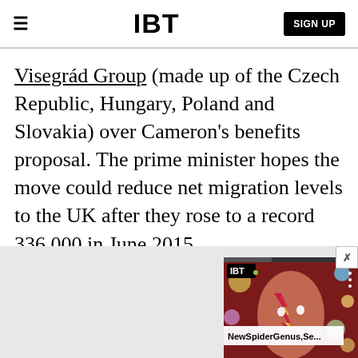IBT | SIGN UP
Visegrád Group (made up of the Czech Republic, Hungary, Poland and Slovakia) over Cameron's benefits proposal. The prime minister hopes the move could reduce net migration levels to the UK after they rose to a record 336,000 in June 2015.
[Figure (screenshot): IBT video widget showing a David Bowie-like figure with colorful face paint, with IBT logo badge and title 'NewSpiderGenus,Se...' overlay, on a dark red background with planet/bubble elements]